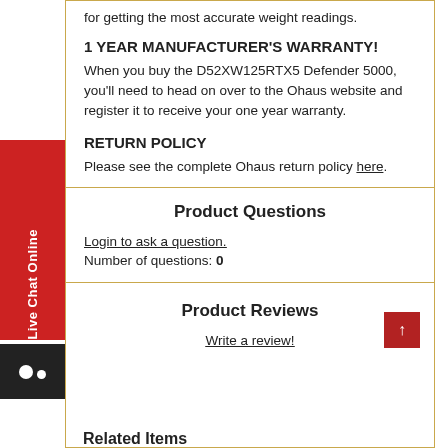for getting the most accurate weight readings.
1 YEAR MANUFACTURER'S WARRANTY!
When you buy the D52XW125RTX5 Defender 5000, you'll need to head on over to the Ohaus website and register it to receive your one year warranty.
RETURN POLICY
Please see the complete Ohaus return policy here.
Product Questions
Login to ask a question.
Number of questions: 0
Product Reviews
Write a review!
Related Items